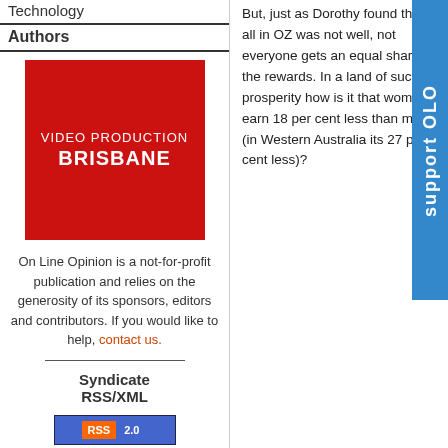Technology
Authors
[Figure (illustration): Red advertisement box for Video Production Brisbane with white text]
On Line Opinion is a not-for-profit publication and relies on the generosity of its sponsors, editors and contributors. If you would like to help, contact us.
Syndicate RSS/XML
[Figure (logo): RSS 2.0 badge in orange and blue]
[Figure (infographic): Support OLO vertical banner in blue on right side]
But, just as Dorothy found that all in OZ was not well, not everyone gets an equal share of the rewards. In a land of such prosperity how is it that women earn 18 per cent less than men (in Western Australia its 27 per cent less)?
And, while increasing numbers of women participate in the labour force, why have they come to dominate in insecure, low paid jobs? Is Australia really being clever, or just selfish and short-sighted?
What the WEF report highlights is that any claims of closing the gap ring hollow when women still earn less than their male counterparts and dominate low paid, precarious work. It goes further, for on the Economic Participation and Opportunity criterion it is...